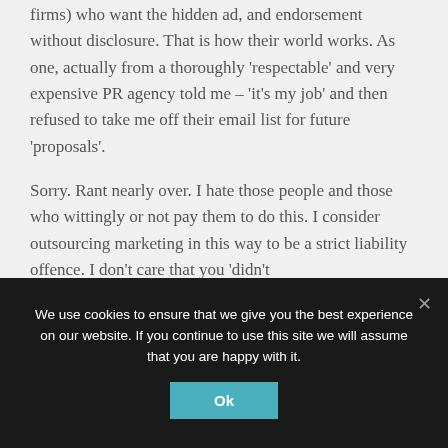firms) who want the hidden ad, and endorsement without disclosure. That is how their world works. As one, actually from a thoroughly ‘respectable’ and very expensive PR agency told me – ‘it’s my job’ and then refused to take me off their email list for future ‘proposals’.
Sorry. Rant nearly over. I hate those people and those who wittingly or not pay them to do this. I consider outsourcing marketing in this way to be a strict liability offence. I don’t care that you ‘didn’t know the PR agency did this’.
We use cookies to ensure that we give you the best experience on our website. If you continue to use this site we will assume that you are happy with it.